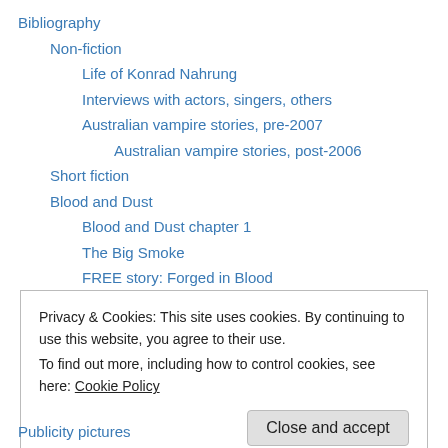Bibliography
Non-fiction
Life of Konrad Nahrung
Interviews with actors, singers, others
Australian vampire stories, pre-2007
Australian vampire stories, post-2006
Short fiction
Blood and Dust
Blood and Dust chapter 1
The Big Smoke
FREE story: Forged in Blood
Salvage
Extract from Salvage, Ch1
Privacy & Cookies: This site uses cookies. By continuing to use this website, you agree to their use.
To find out more, including how to control cookies, see here: Cookie Policy
Publicity pictures